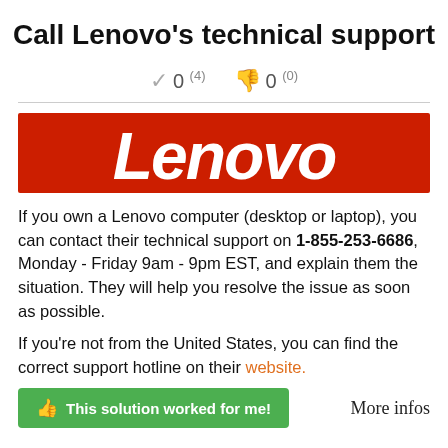Call Lenovo's technical support
0 (4)  0 (0)
[Figure (logo): Lenovo logo — white italic bold text on red background]
If you own a Lenovo computer (desktop or laptop), you can contact their technical support on 1-855-253-6686, Monday - Friday 9am - 9pm EST, and explain them the situation. They will help you resolve the issue as soon as possible.
If you're not from the United States, you can find the correct support hotline on their website.
This solution worked for me!    More infos
Call Msi's technical support